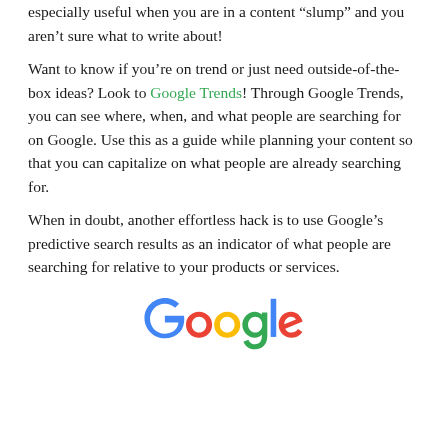especially useful when you are in a content “slump” and you aren’t sure what to write about!
Want to know if you're on trend or just need outside-of-the-box ideas? Look to Google Trends! Through Google Trends, you can see where, when, and what people are searching for on Google. Use this as a guide while planning your content so that you can capitalize on what people are already searching for.
When in doubt, another effortless hack is to use Google’s predictive search results as an indicator of what people are searching for relative to your products or services.
[Figure (logo): Google logo in multicolor letters]